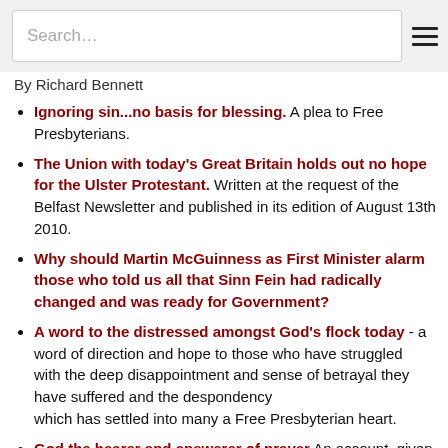Search…
By Richard Bennett
Ignoring sin...no basis for blessing. A plea to Free Presbyterians.
The Union with today's Great Britain holds out no hope for the Ulster Protestant. Written at the request of the Belfast Newsletter and published in its edition of August 13th 2010.
Why should Martin McGuinness as First Minister alarm those who told us all that Sinn Fein had radically changed and was ready for Government?
A word to the distressed amongst God's flock today - a word of direction and hope to those who have struggled with the deep disappointment and sense of betrayal they have suffered and the despondency which has settled into many a Free Presbyterian heart.
God the hearer and answerer of prayer An account, given at the recent Congress of Fundamentalists at Foundations Bible College, of the distress felt amongst believers in Ulster during the controversy aroused by the decision of Dr Paisley and the DUP in 2006 to enter a power-sharing government with Sinn Fein/IRA, a party which openly condoned murder and terrorism. A timely consideration for God's people in the